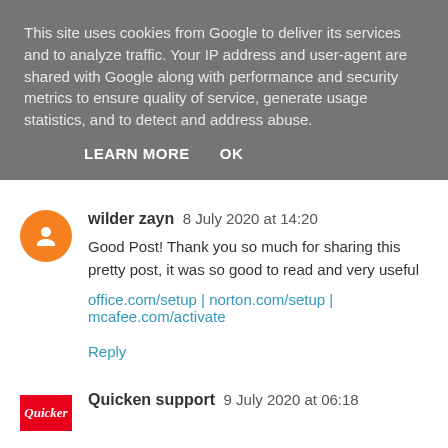This site uses cookies from Google to deliver its services and to analyze traffic. Your IP address and user-agent are shared with Google along with performance and security metrics to ensure quality of service, generate usage statistics, and to detect and address abuse.
LEARN MORE   OK
wilder zayn  8 July 2020 at 14:20
Good Post! Thank you so much for sharing this pretty post, it was so good to read and very useful
office.com/setup | norton.com/setup | mcafee.com/activate
Reply
Quicken support  9 July 2020 at 06:18